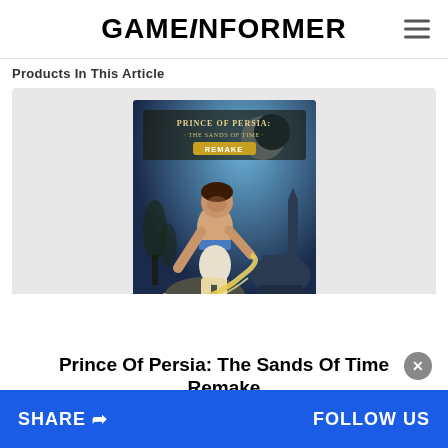GAMEINFORMER
Products In This Article
[Figure (illustration): Prince Of Persia: The Sands Of Time Remake game cover art showing a prince leaping with a glowing scimitar, with a nighttime Persian cityscape in the background. Title text reads 'PRINCE OF PERSIA: THE SANDS OF TIME REMAKE'.]
Prince Of Persia: The Sands Of Time Remake
SHARE   FOLLOW US